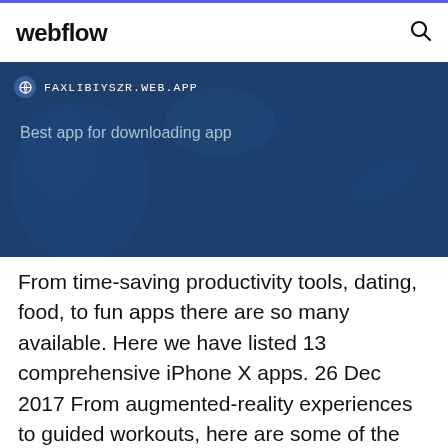webflow
[Figure (screenshot): Blue banner with URL bar showing FAXLIBIYSZR.WEB.APP and subtitle 'Best app for downloading app']
From time-saving productivity tools, dating, food, to fun apps there are so many available. Here we have listed 13 comprehensive iPhone X apps. 26 Dec 2017 From augmented-reality experiences to guided workouts, here are some of the apps that may deserve a spot on your new iPhone X.